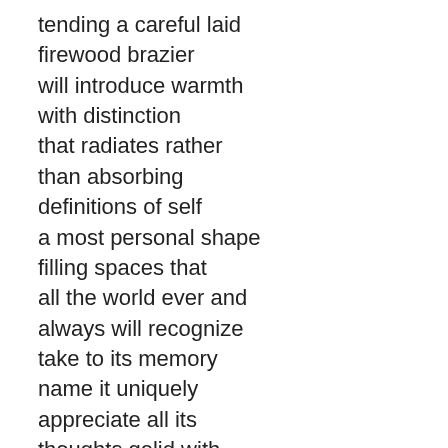tending a careful laid
firewood brazier
will introduce warmth
with distinction
that radiates rather
than absorbing
definitions of self
a most personal shape
filling spaces that
all the world ever and
always will recognize
take to its memory
name it uniquely
appreciate all its
thoughts gelid with
rational lucid assertions